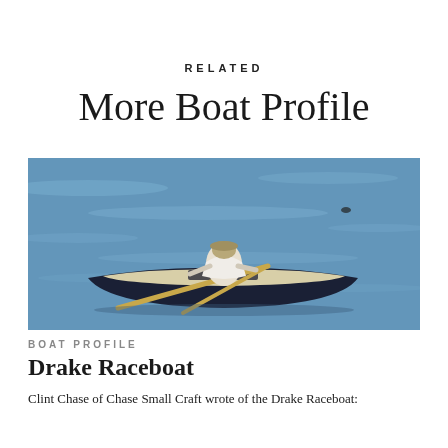RELATED
More Boat Profile
[Figure (photo): A person rowing a dark-hulled wooden boat on open blue water, viewed from behind. The rower wears a white shirt and hat, using long oars. The boat has a light-colored interior.]
BOAT PROFILE
Drake Raceboat
Clint Chase of Chase Small Craft wrote of the Drake Raceboat: